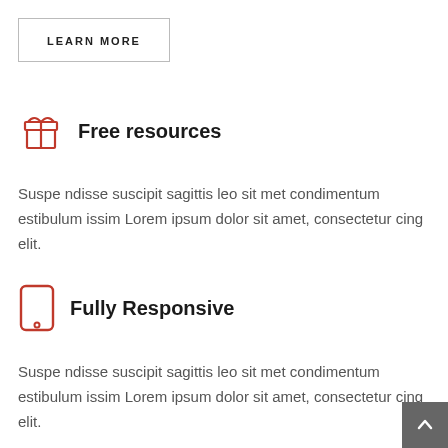LEARN MORE
Free resources
Suspe ndisse suscipit sagittis leo sit met condimentum estibulum issim Lorem ipsum dolor sit amet, consectetur cing elit.
Fully Responsive
Suspe ndisse suscipit sagittis leo sit met condimentum estibulum issim Lorem ipsum dolor sit amet, consectetur cing elit.